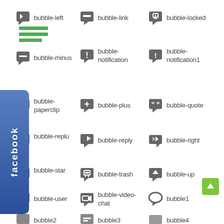bubble-left
bubble-link
bubble-locked
bubble-minus
bubble-notification
bubble-notification1
bubble-paperclip
bubble-plus
bubble-quote
bubble-replu
bubble-reply
bubble-right
bubble-star
bubble-trash
bubble-up
bubble-user
bubble-video-chat
bubble1
bubble2
bubble3
bubble4